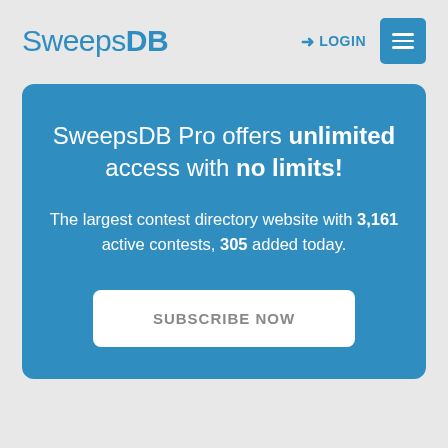SweepsDB
LOGIN
≡
SweepsDB Pro offers unlimited access with no limits!
The largest contest directory website with 3,161 active contests, 305 added today.
SUBSCRIBE NOW